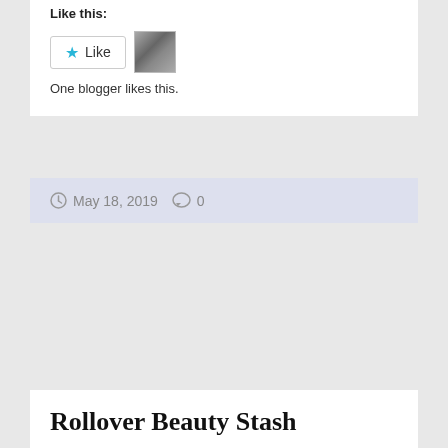Like this:
[Figure (other): Like button with star icon and a small avatar thumbnail next to it]
One blogger likes this.
May 18, 2019  0
Rollover Beauty Stash